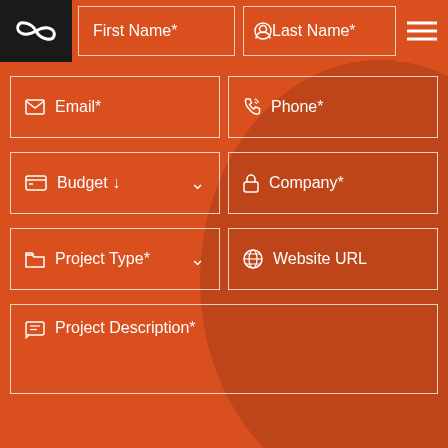[Figure (logo): Infinity loop logo in black square box]
First Name*
Last Name*
Email*
Phone*
Budget ↓
Company*
Project Type*
Website URL
Project Description*